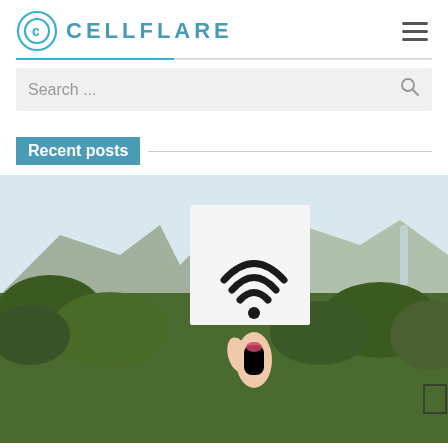CELLFLARE
Search ...
Recent posts
[Figure (photo): Person holding up a white card/paper with a WiFi symbol printed on it, outdoors with greenery and cliffs/mountains in the background]